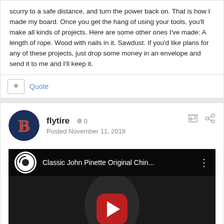scurry to a safe distance, and turn the power back on. That is how I made my board. Once you get the hang of using your tools, you'll make all kinds of projects. Here are some other ones I've made: A length of rope. Wood with nails in it. Sawdust. If you'd like plans for any of these projects, just drop some money in an envelope and send it to me and I'll keep it.
flytire  0  Posted November 11, 2018
[Figure (screenshot): YouTube video embed showing 'Classic John Pinette Original Chin...' with play button overlay and person visible in dark background]